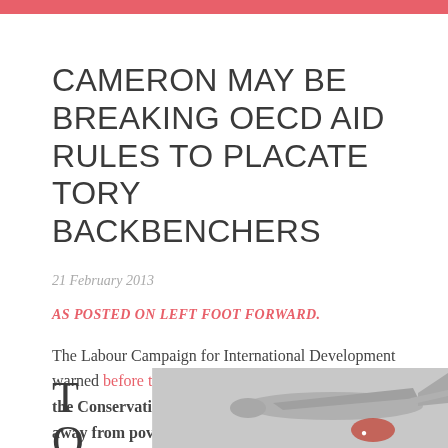CAMERON MAY BE BREAKING OECD AID RULES TO PLACATE TORY BACKBENCHERS
21 February 2013
AS POSTED ON LEFT FOOT FORWARD.
The Labour Campaign for International Development warned before the 2010 election that there was a risk the Conservatives would divert the aid budget away from poverty reduction and towards national security.
[Figure (photo): Partial view of an aircraft or drone, grey background, with partial drop cap letter T and O visible on the left]